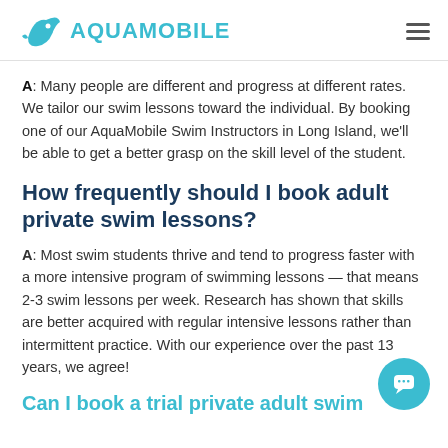AQUAMOBILE
A: Many people are different and progress at different rates. We tailor our swim lessons toward the individual. By booking one of our AquaMobile Swim Instructors in Long Island, we'll be able to get a better grasp on the skill level of the student.
How frequently should I book adult private swim lessons?
A: Most swim students thrive and tend to progress faster with a more intensive program of swimming lessons — that means 2-3 swim lessons per week. Research has shown that skills are better acquired with regular intensive lessons rather than intermittent practice. With our experience over the past 13 years, we agree!
Can I book a trial private adult swim